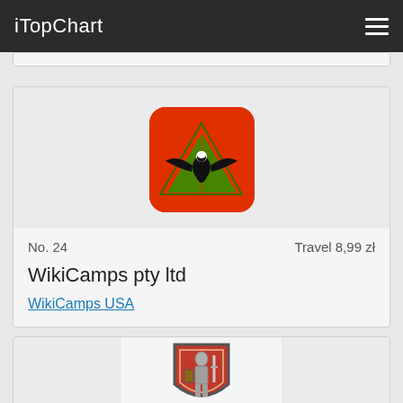iTopChart
[Figure (logo): WikiCamps app icon: orange/red background with green triangles and black eagle silhouette]
No. 24
Travel 8,99 zł
WikiCamps pty ltd
WikiCamps USA
[Figure (logo): Partially visible app icon at bottom: red shield with armored knight figure]